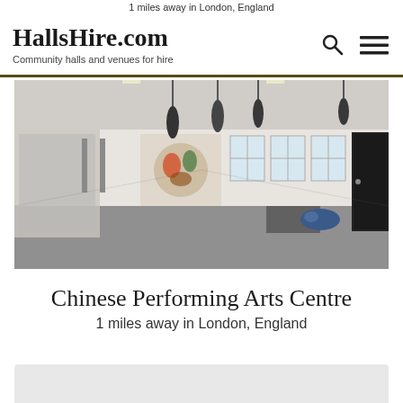1 miles away in London, England
HallsHire.com
Community halls and venues for hire
[Figure (photo): Interior of Chinese Performing Arts Centre: a large open hall with grey flooring, mirrored wall on left, murals/artwork, punching bags hanging from ceiling, windows along back wall, black door on right side.]
Chinese Performing Arts Centre
1 miles away in London, England